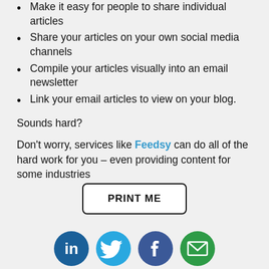Make it easy for people to share individual articles
Share your articles on your own social media channels
Compile your articles visually into an email newsletter
Link your email articles to view on your blog.
Sounds hard?
Don’t worry, services like Feedsy can do all of the hard work for you – even providing content for some industries
[Figure (other): PRINT ME button with rounded rectangle border]
[Figure (other): Four social media icons: LinkedIn (blue circle), Twitter (light blue circle), Facebook (dark blue circle), Email/envelope (green circle)]